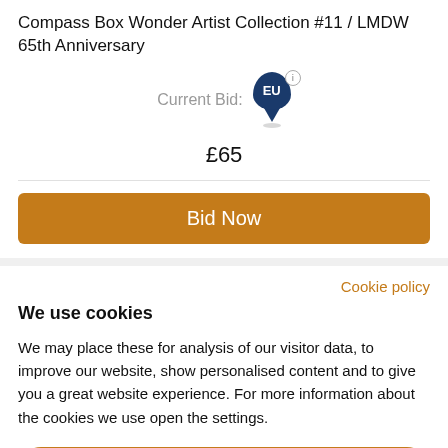Compass Box Wonder Artist Collection #11 / LMDW 65th Anniversary
Current Bid: EU £65
Bid Now
Cookie policy
We use cookies
We may place these for analysis of our visitor data, to improve our website, show personalised content and to give you a great website experience. For more information about the cookies we use open the settings.
Accept all
Deny
No, adjust